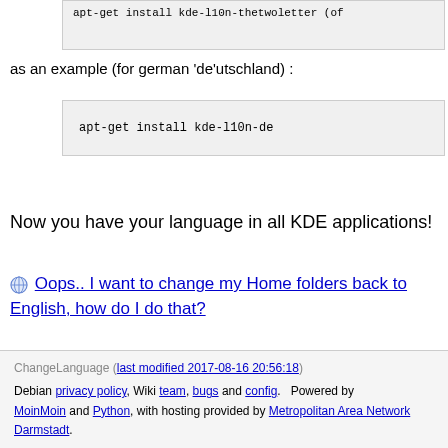apt-get install kde-l10n-thetwoletter (of
as an example (for german 'de'utschland) :
apt-get install kde-l10n-de
Now you have your language in all KDE applications!
Oops.. I want to change my Home folders back to English, how do I do that?
ChangeLanguage (last modified 2017-08-16 20:56:18)
Debian privacy policy, Wiki team, bugs and config. Powered by MoinMoin and Python, with hosting provided by Metropolitan Area Network Darmstadt.